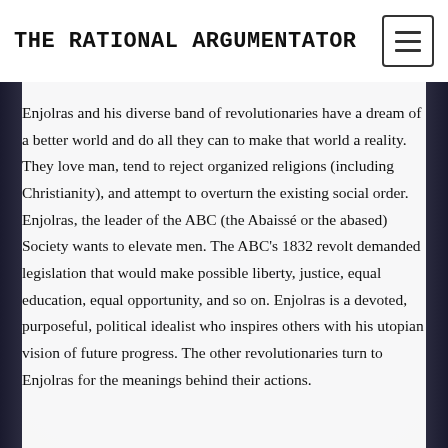THE RATIONAL ARGUMENTATOR
Enjolras and his diverse band of revolutionaries have a dream of a better world and do all they can to make that world a reality. They love man, tend to reject organized religions (including Christianity), and attempt to overturn the existing social order. Enjolras, the leader of the ABC (the Abaissé or the abased) Society wants to elevate men. The ABC's 1832 revolt demanded legislation that would make possible liberty, justice, equal education, equal opportunity, and so on. Enjolras is a devoted, purposeful, political idealist who inspires others with his utopian vision of future progress. The other revolutionaries turn to Enjolras for the meanings behind their actions.